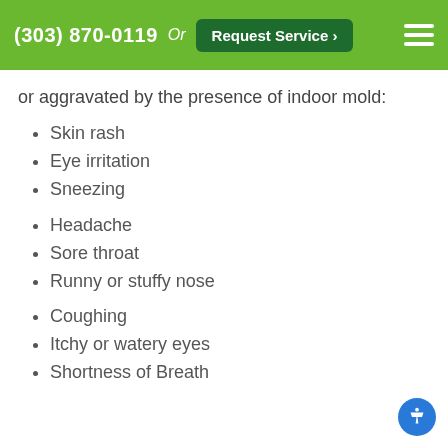(303) 870-0119  Or  Request Service >
or aggravated by the presence of indoor mold:
Skin rash
Eye irritation
Sneezing
Headache
Sore throat
Runny or stuffy nose
Coughing
Itchy or watery eyes
Shortness of Breath